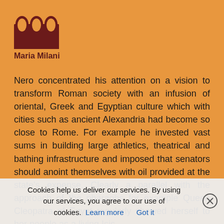[Figure (logo): Maria Milani website logo — stylized arched building icon in dark red with text 'Maria Milani' below]
Nero concentrated his attention on a vision to transform Roman society with an infusion of oriental, Greek and Egyptian culture which with cities such as ancient Alexandria had become so close to Rome. For example he invested vast sums in building large athletics, theatrical and bathing infrastructure and imposed that senators should anoint themselves with oil provided at the state's expense. Clearly a parallel with the approach of the pharaohs for example Queen Cleopatra of Egypt regularly showed herself to her people as a living Isis.
The emperor paid less attention to military affairs such as issues on the Rhine, war against the Britons. Armenia and Rome, his generatio...
Cookies help us deliver our services. By using our services, you agree to our use of cookies. Learn more   Got it